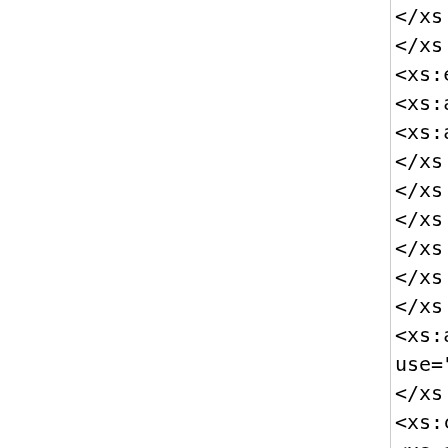</xs:annotation>
        </xs:enumeration>
        <xs:enumeration value="1
          <xs:annotation>
            <xs:appinfo>Permanent
            </xs:appinfo>
          </xs:annotation>
        </xs:enumeration>
      </xs:restriction>
    </xs:simpleType>
  </xs:attribute>
  <xs:attribute name="Partic
    use="optional"/>
</xs:complexType>
<xs:complexType name="CodedV
  <xs:attribute name="code" t
  <xs:attributeGroup ref="Co
  <xs:attribute name="display
  <xs:attribute name="origina
</xs:complexType>
<xs:complexType name="TypeVa